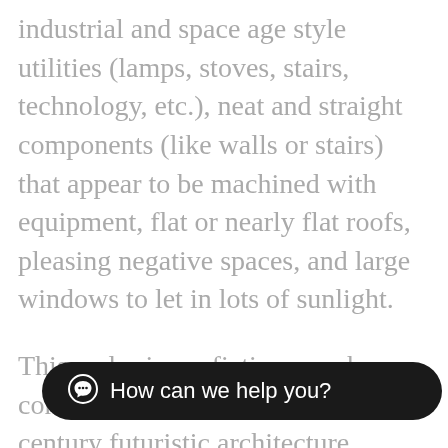industrial and space age style utilities (lamps, stoves, stairs, technology, etc.), neat and straight components (like walls or stairs) that appear to be machined with equipment, flat or nearly flat roofs, pleasing negative spaces, and large windows to let in lots of sunlight.
This and science fiction may have contributed to the late twentieth century futuristic architecture design, and modern home decor. Modern minimalist home architecture with its unnecessary internal walls removed probably have led to the popularity of the open plan / great room style. De Stijl expanded the ideas that could be...